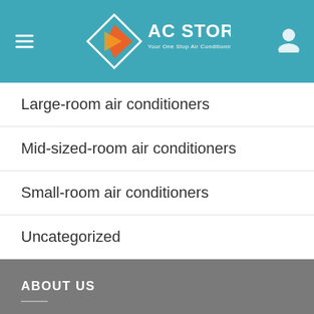[Figure (logo): AC Store logo with teal diamond shape and orange/red arrow with text 'AC STORE Your One Stop Air Conditioning Shop']
Large-room air conditioners
Mid-sized-room air conditioners
Small-room air conditioners
Uncategorized
ABOUT US
Local Air Conditioner Shop - Stores where you can see the units before you buy